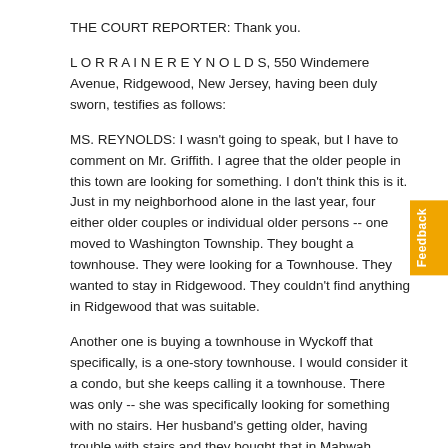THE COURT REPORTER: Thank you.
L O R R A I N E R E Y N O L D S, 550 Windemere Avenue, Ridgewood, New Jersey, having been duly sworn, testifies as follows:
MS. REYNOLDS: I wasn't going to speak, but I have to comment on Mr. Griffith. I agree that the older people in this town are looking for something. I don't think this is it. Just in my neighborhood alone in the last year, four either older couples or individual older persons -- one moved to Washington Township. They bought a townhouse. They were looking for a Townhouse. They wanted to stay in Ridgewood. They couldn't find anything in Ridgewood that was suitable.
Another one is buying a townhouse in Wyckoff that specifically, is a one-story townhouse. I would consider it a condo, but she keeps calling it a townhouse. There was only -- she was specifically looking for something with no stairs. Her husband's getting older, having trouble with stairs and they bought that in Mahwah. Another one wanted to downsize to a house, but their taxes -- the taxes in